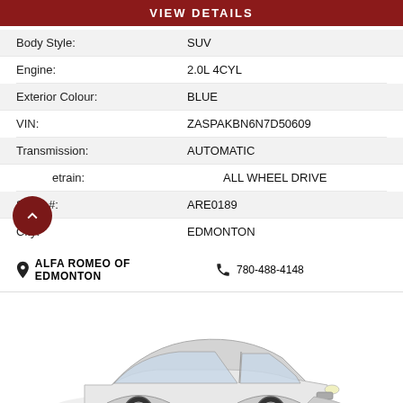VIEW DETAILS
| Attribute | Value |
| --- | --- |
| Body Style: | SUV |
| Engine: | 2.0L 4CYL |
| Exterior Colour: | BLUE |
| VIN: | ZASPAKBN6N7D50609 |
| Transmission: | AUTOMATIC |
| Drivetrain: | ALL WHEEL DRIVE |
| Stock #: | ARE0189 |
| City: | EDMONTON |
ALFA ROMEO OF EDMONTON   780-488-4148
[Figure (photo): Partial view of a white/silver SUV (Alfa Romeo) from a front-three-quarter angle, cropped at bottom of page.]